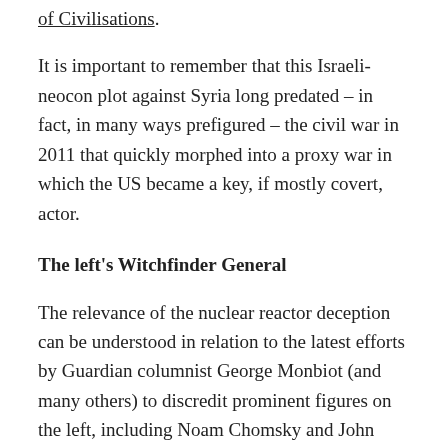of Civilisations.
It is important to remember that this Israeli-neocon plot against Syria long predated – in fact, in many ways prefigured – the civil war in 2011 that quickly morphed into a proxy war in which the US became a key, if mostly covert, actor.
The left's Witchfinder General
The relevance of the nuclear reactor deception can be understood in relation to the latest efforts by Guardian columnist George Monbiot (and many others) to discredit prominent figures on the left, including Noam Chomsky and John Pilger, for their caution in making assessments of much more recent events in Syria. Monbiot has